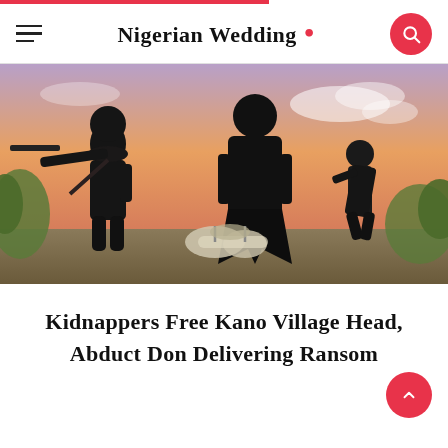Nigerian Wedding •
[Figure (illustration): Illustrated scene showing three dark silhouetted figures — one aiming a rifle, one large central figure in a long coat, and one smaller figure to the right — against an orange and purple sunset sky with green foliage, kidnapping/crime themed artwork]
Kidnappers Free Kano Village Head, Abduct Don Delivering Ransom